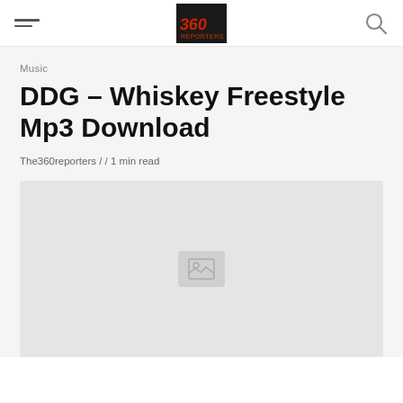The360reporters — navigation header with hamburger menu, logo, and search icon
Music
DDG – Whiskey Freestyle Mp3 Download
The360reporters / / 1 min read
[Figure (photo): Article featured image placeholder (light gray box with broken image icon in center)]